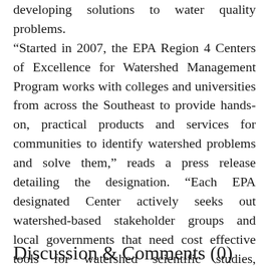developing solutions to water quality problems. “Started in 2007, the EPA Region 4 Centers of Excellence for Watershed Management Program works with colleges and universities from across the Southeast to provide hands-on, practical products and services for communities to identify watershed problems and solve them,” reads a press release detailing the designation. “Each EPA designated Center actively seeks out watershed-based stakeholder groups and local governments that need cost effective tools for watershed scientific studies, engineering designs and computer mapping, as well as assistance with legal issues, project management, public education and planning.”
Discussion & Comments (0)